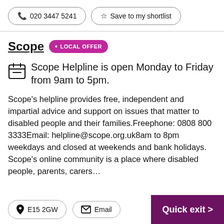📞 020 3447 5241
☆ Save to my shortlist
Scope • LOCAL OFFER
Scope Helpline is open Monday to Friday from 9am to 5pm.
Scope's helpline provides free, independent and impartial advice and support on issues that matter to disabled people and their families.Freephone: 0808 800 3333Email: helpline@scope.org.uk8am to 8pm weekdays and closed at weekends and bank holidays. Scope's online community is a place where disabled people, parents, carers...
E15 2GW
Email
Quick exit >